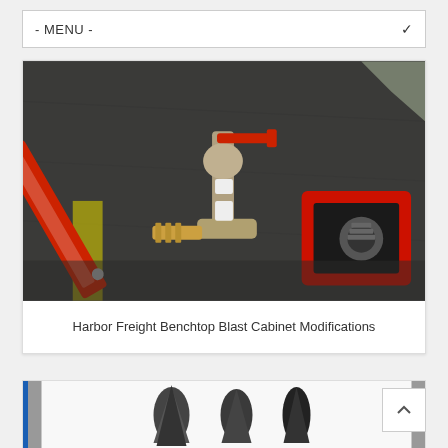- MENU -
[Figure (photo): Photo of blast cabinet modification parts on a metal workbench: a red caulk gun, a ball valve with red handle and hose barb fittings, and a red tablet/device holder with a threaded fitting mounted on it.]
Harbor Freight Benchtop Blast Cabinet Modifications
[Figure (photo): Partial view of a second card showing bullet/projectile shaped objects on a white background with a blue left border.]